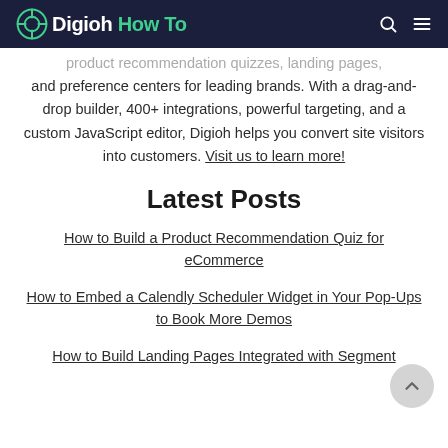Digioh How To
product recommendation quizzes, landing pages, and preference centers for leading brands. With a drag-and-drop builder, 400+ integrations, powerful targeting, and a custom JavaScript editor, Digioh helps you convert site visitors into customers. Visit us to learn more!
Latest Posts
How to Build a Product Recommendation Quiz for eCommerce
How to Embed a Calendly Scheduler Widget in Your Pop-Ups to Book More Demos
How to Build Landing Pages Integrated with Segment